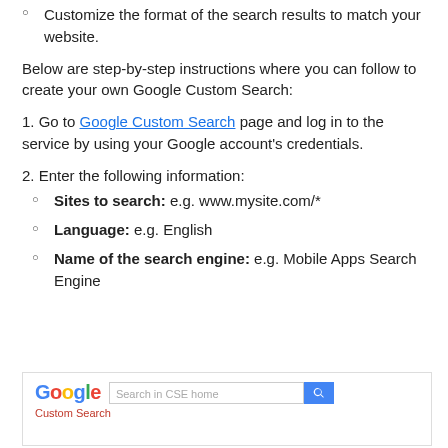Customize the format of the search results to match your website.
Below are step-by-step instructions where you can follow to create your own Google Custom Search:
1. Go to Google Custom Search page and log in to the service by using your Google account's credentials.
2. Enter the following information:
Sites to search: e.g. www.mysite.com/*
Language: e.g. English
Name of the search engine: e.g. Mobile Apps Search Engine
[Figure (screenshot): Screenshot of Google Custom Search Engine home page with search bar and 'Custom Search' label]